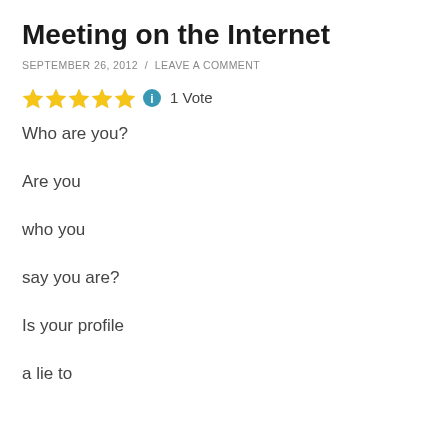Meeting on the Internet
SEPTEMBER 26, 2012  /  LEAVE A COMMENT
[Figure (other): Five gold star rating icons followed by a blue info icon, then '1 Vote' text]
Who are you?
Are you
who you
say you are?
Is your profile
a lie to